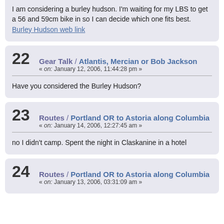I am considering a burley hudson. I'm waiting for my LBS to get a 56 and 59cm bike in so I can decide which one fits best. Burley Hudson web link
22 Gear Talk / Atlantis, Mercian or Bob Jackson
« on: January 12, 2006, 11:44:28 pm »
Have you considered the Burley Hudson?
23 Routes / Portland OR to Astoria along Columbia
« on: January 14, 2006, 12:27:45 am »
no I didn't camp. Spent the night in Claskanine in a hotel
24 Routes / Portland OR to Astoria along Columbia
« on: January 13, 2006, 03:31:09 am »